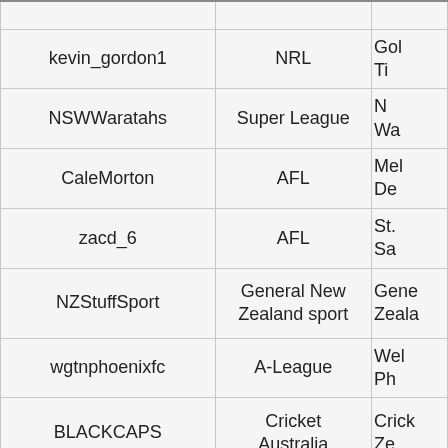| kevin_gordon1 | NRL | Gold... Ti... |
| NSWWaratahs | Super League | N Wa... |
| CaleMorton | AFL | Melb De... |
| zacd_6 | AFL | St. Sa... |
| NZStuffSport | General New Zealand sport | Gene Zeala... |
| wgtnphoenixfc | A-League | Wel Ph... |
| BLACKCAPS | Cricket Australia | Crick Ze... |
| adrianleijer | A-League | Melb Vi... |